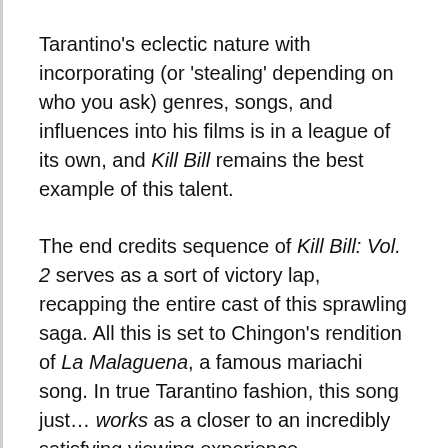Tarantino's eclectic nature with incorporating (or 'stealing' depending on who you ask) genres, songs, and influences into his films is in a league of its own, and Kill Bill remains the best example of this talent.
The end credits sequence of Kill Bill: Vol. 2 serves as a sort of victory lap, recapping the entire cast of this sprawling saga. All this is set to Chingon's rendition of La Malaguena, a famous mariachi song. In true Tarantino fashion, this song just… works as a closer to an incredibly satisfying viewing experience.
I honestly cannot (and will not) imagine the series ending on anything besides this great song.